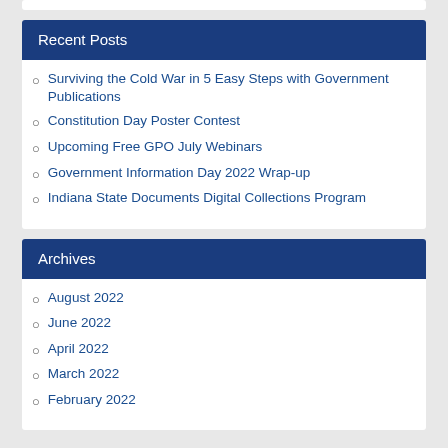Recent Posts
Surviving the Cold War in 5 Easy Steps with Government Publications
Constitution Day Poster Contest
Upcoming Free GPO July Webinars
Government Information Day 2022 Wrap-up
Indiana State Documents Digital Collections Program
Archives
August 2022
June 2022
April 2022
March 2022
February 2022